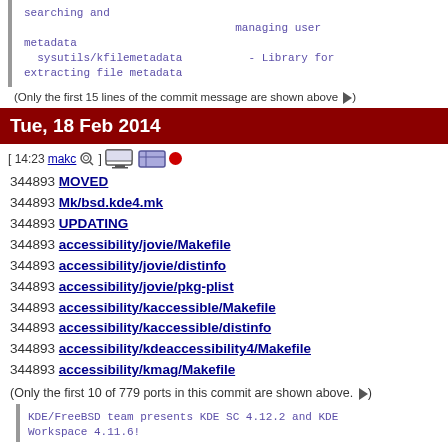searching and
                                    managing user
metadata
    sysutils/kfilemetadata                - Library for
extracting file metadata
(Only the first 15 lines of the commit message are shown above ►)
Tue, 18 Feb 2014
[ 14:23 makc ] [icons] [icons]
344893 MOVED
344893 Mk/bsd.kde4.mk
344893 UPDATING
344893 accessibility/jovie/Makefile
344893 accessibility/jovie/distinfo
344893 accessibility/jovie/pkg-plist
344893 accessibility/kaccessible/Makefile
344893 accessibility/kaccessible/distinfo
344893 accessibility/kdeaccessibility4/Makefile
344893 accessibility/kmag/Makefile
(Only the first 10 of 779 ports in this commit are shown above. ►)
KDE/FreeBSD team presents KDE SC 4.12.2 and KDE Workspace 4.11.6!